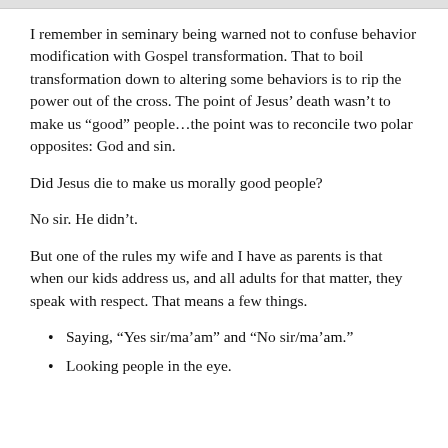[Figure (photo): Partial image strip at the top of the page, mostly cropped out]
I remember in seminary being warned not to confuse behavior modification with Gospel transformation. That to boil transformation down to altering some behaviors is to rip the power out of the cross. The point of Jesus’ death wasn’t to make us “good” people…the point was to reconcile two polar opposites: God and sin.
Did Jesus die to make us morally good people?
No sir. He didn’t.
But one of the rules my wife and I have as parents is that when our kids address us, and all adults for that matter, they speak with respect. That means a few things.
Saying, “Yes sir/ma’am” and “No sir/ma’am.”
Looking people in the eye.